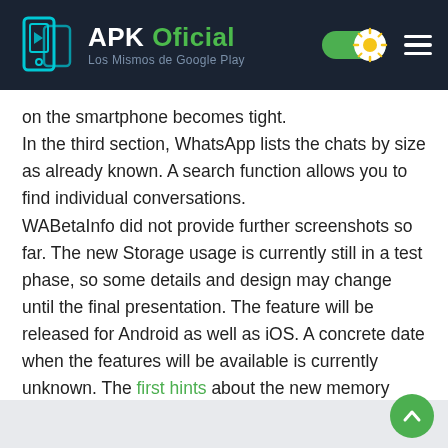APK Oficial — Los Mismos de Google Play
on the smartphone becomes tight.
In the third section, WhatsApp lists the chats by size as already known. A search function allows you to find individual conversations.
WABetaInfo did not provide further screenshots so far. The new Storage usage is currently still in a test phase, so some details and design may change until the final presentation. The feature will be released for Android as well as iOS. A concrete date when the features will be available is currently unknown. The first hints about the new memory overview were already given at the beginning of June 2020.